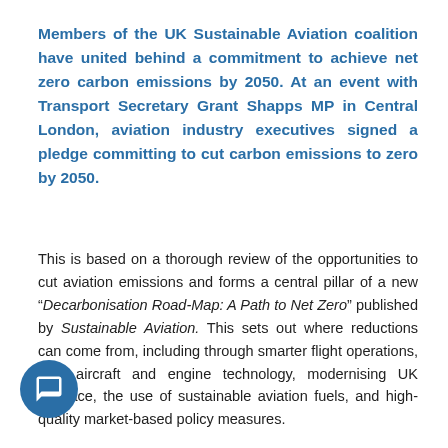Members of the UK Sustainable Aviation coalition have united behind a commitment to achieve net zero carbon emissions by 2050. At an event with Transport Secretary Grant Shapps MP in Central London, aviation industry executives signed a pledge committing to cut carbon emissions to zero by 2050.
This is based on a thorough review of the opportunities to cut aviation emissions and forms a central pillar of a new “Decarbonisation Road-Map: A Path to Net Zero” published by Sustainable Aviation. This sets out where reductions can come from, including through smarter flight operations, new aircraft and engine technology, modernising UK airspace, the use of sustainable aviation fuels, and high-quality market-based policy measures.